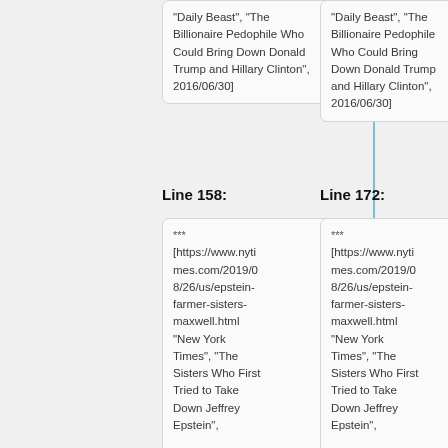"Daily Beast", "The Billionaire Pedophile Who Could Bring Down Donald Trump and Hillary Clinton", 2016/06/30]
"Daily Beast", "The Billionaire Pedophile Who Could Bring Down Donald Trump and Hillary Clinton", 2016/06/30]
Line 158:
Line 172:
*** [https://www.nytimes.com/2019/08/26/us/epstein-farmer-sisters-maxwell.html "New York Times", "The Sisters Who First Tried to Take Down Jeffrey Epstein",
*** [https://www.nytimes.com/2019/08/26/us/epstein-farmer-sisters-maxwell.html "New York Times", "The Sisters Who First Tried to Take Down Jeffrey Epstein",